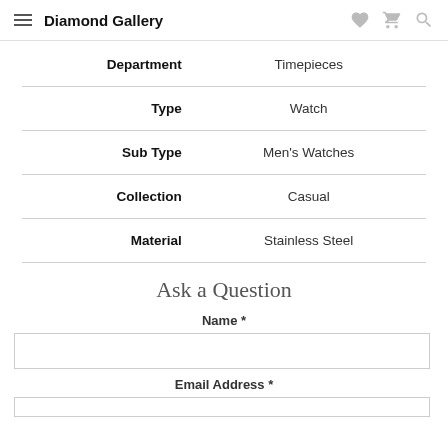Diamond Gallery
| Label | Value |
| --- | --- |
| Department | Timepieces |
| Type | Watch |
| Sub Type | Men's Watches |
| Collection | Casual |
| Material | Stainless Steel |
Ask a Question
Name *
Email Address *